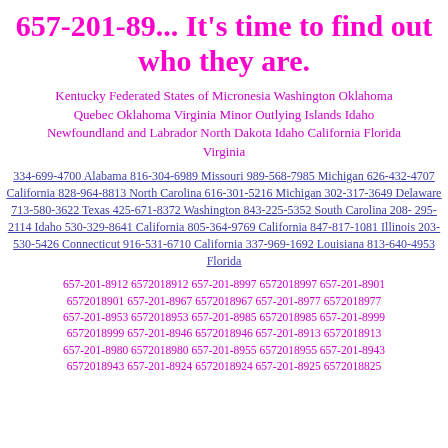657-201-89... It's time to find out who they are.
Kentucky Federated States of Micronesia Washington Oklahoma Quebec Oklahoma Virginia Minor Outlying Islands Idaho Newfoundland and Labrador North Dakota Idaho California Florida Virginia
334-699-4700 Alabama 816-304-6989 Missouri 989-568-7985 Michigan 626-432-4707 California 828-964-8813 North Carolina 616-301-5216 Michigan 302-317-3649 Delaware 713-580-3622 Texas 425-671-8372 Washington 843-225-5352 South Carolina 208-295-2114 Idaho 530-329-8641 California 805-364-9769 California 847-817-1081 Illinois 203-530-5426 Connecticut 916-531-6710 California 337-969-1692 Louisiana 813-640-4953 Florida
657-201-8912 6572018912 657-201-8997 6572018997 657-201-8901 6572018901 657-201-8967 6572018967 657-201-8977 6572018977 657-201-8953 6572018953 657-201-8985 6572018985 657-201-8999 6572018999 657-201-8946 6572018946 657-201-8913 6572018913 657-201-8980 6572018980 657-201-8955 6572018955 657-201-8943 6572018943 657-201-8924 6572018924 657-201-8925 6572018925